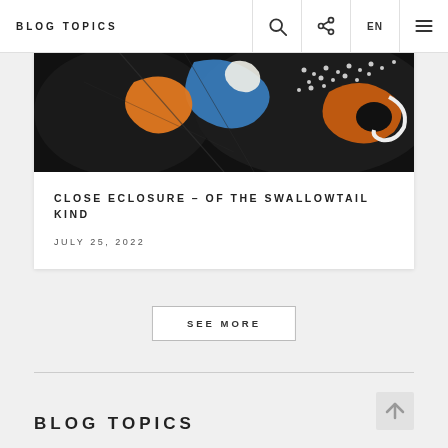BLOG TOPICS
[Figure (photo): Close-up macro photograph of a swallowtail butterfly wing showing vibrant orange, blue, and white patterns on a dark black background]
CLOSE ECLOSURE – OF THE SWALLOWTAIL KIND
JULY 25, 2022
SEE MORE
BLOG TOPICS